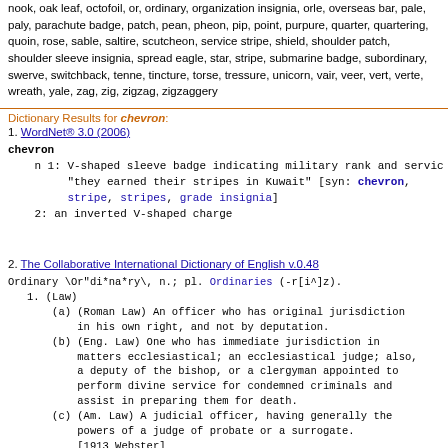nook, oak leaf, octofoil, or, ordinary, organization insignia, orle, overseas bar, pale, paly, parachute badge, patch, pean, pheon, pip, point, purpure, quarter, quartering, quoin, rose, sable, saltire, scutcheon, service stripe, shield, shoulder patch, shoulder sleeve insignia, spread eagle, star, stripe, submarine badge, subordinary, swerve, switchback, tenne, tincture, torse, tressure, unicorn, vair, veer, vert, verte, wreath, yale, zag, zig, zigzag, zigzaggery
Dictionary Results for chevron:
1. WordNet® 3.0 (2006)
chevron
 n 1: V-shaped sleeve badge indicating military rank and service; "they earned their stripes in Kuwait" [syn: chevron, stripe, stripes, grade insignia]
   2: an inverted V-shaped charge
2. The Collaborative International Dictionary of English v.0.48
Ordinary \Or"di*na*ry\, n.; pl. Ordinaries (-r[i^]z).
1. (Law)
   (a) (Roman Law) An officer who has original jurisdiction
       in his own right, and not by deputation.
   (b) (Eng. Law) One who has immediate jurisdiction in
       matters ecclesiastical; an ecclesiastical judge; also,
       a deputy of the bishop, or a clergyman appointed to
       perform divine service for condemned criminals and
       assist in preparing them for death.
   (c) (Am. Law) A judicial officer, having generally the
       powers of a judge of probate or a surrogate.
       [1913 Webster]
2. The mass; the common run. [Obs.]
   [1913 Webster]